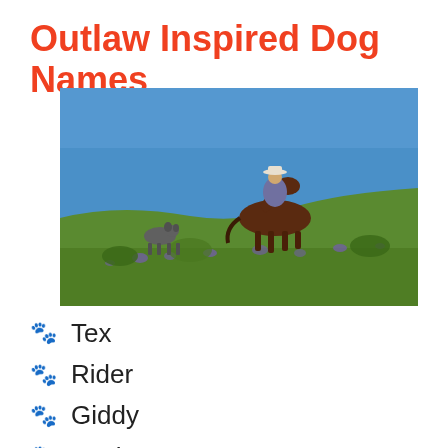Outlaw Inspired Dog Names
[Figure (photo): A person on horseback riding along a hilltop with wildflowers and green brush, with a dog following behind. Blue sky above.]
Tex
Rider
Giddy
Buck